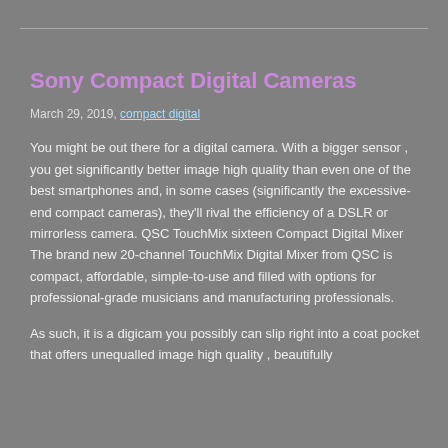Sony Compact Digital Cameras
March 29, 2019, compact digital
You might be out there for a digital camera. With a bigger sensor , you get significantly better image high quality than even one of the best smartphones and, in some cases (significantly the excessive-end compact cameras), they'll rival the efficiency of a DSLR or mirrorless camera. QSC TouchMix sixteen Compact Digital Mixer The brand new 20-channel TouchMix Digital Mixer from QSC is compact, affordable, simple-to-use and filled with options for professional-grade musicians and manufacturing professionals.
As such, it is a digicam you possibly can slip right into a coat pocket that offers unequalled image high quality , beautifully